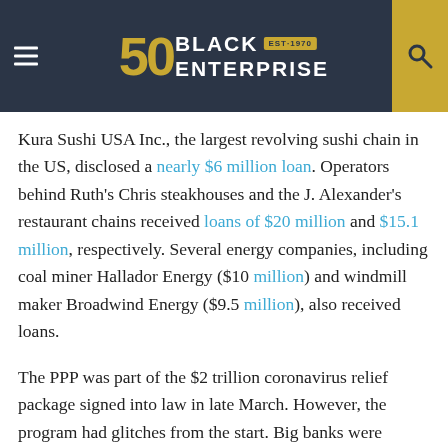Black Enterprise — EST. 1970 (50th anniversary logo)
Kura Sushi USA Inc., the largest revolving sushi chain in the US, disclosed a nearly $6 million loan. Operators behind Ruth's Chris steakhouses and the J. Alexander's restaurant chains received loans of $20 million and $15.1 million, respectively. Several energy companies, including coal miner Hallador Energy ($10 million) and windmill maker Broadwind Energy ($9.5 million), also received loans.
The PPP was part of the $2 trillion coronavirus relief package signed into law in late March. However, the program had glitches from the start. Big banks were unable to open the program on time due to a lack of guidance from the Small Business Administration.